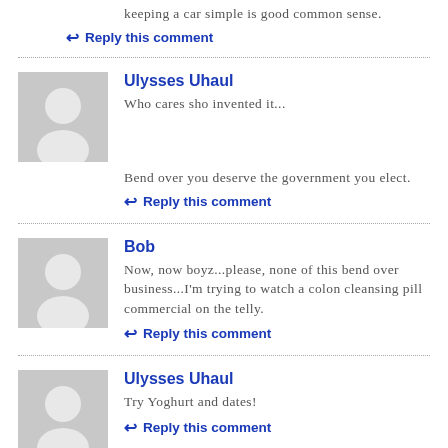keeping a car simple is good common sense.
↩ Reply this comment
Ulysses Uhaul
Who cares sho invented it...
Bend over you deserve the government you elect.
↩ Reply this comment
Bob
Now, now boyz...please, none of this bend over business...I'm trying to watch a colon cleansing pill commercial on the telly.
↩ Reply this comment
Ulysses Uhaul
Try Yoghurt and dates!
↩ Reply this comment